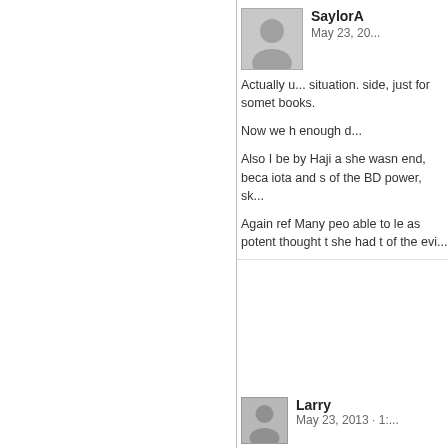SaylorA
May 23, 20...
Actually u... situation. side, just for somet books.

Now we h enough d...

Also I be by Haji a she wasn end, beca iota and s of the BD power, sk...

Again ref Many peo able to le as potent thought t she had t of the evi...
Larry
May 23, 2013 · 1:...